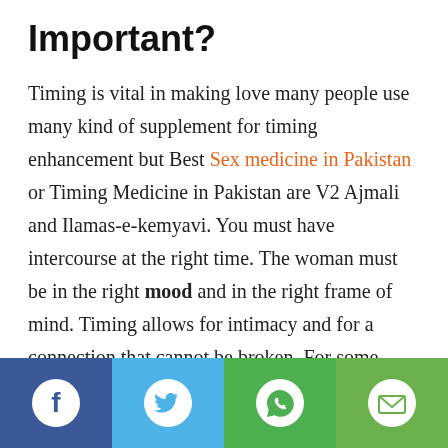Important?
Timing is vital in making love many people use many kind of supplement for timing enhancement but Best Sex medicine in Pakistan or Timing Medicine in Pakistan are V2 Ajmali and Ilamas-e-kemyavi. You must have intercourse at the right time. The woman must be in the right mood and in the right frame of mind. Timing allows for intimacy and for a connection that cannot be broken. For some men,premature ejaculation causes them to withdraw from the relationship. Women can feel this a mile away because they are always left feeling like it is their fault that the man doesn't last long enough. They want to be in control of everything, even of their own
[Figure (infographic): Social sharing bar with four buttons: Facebook (dark blue), Twitter (light blue), WhatsApp (green), Email (green)]